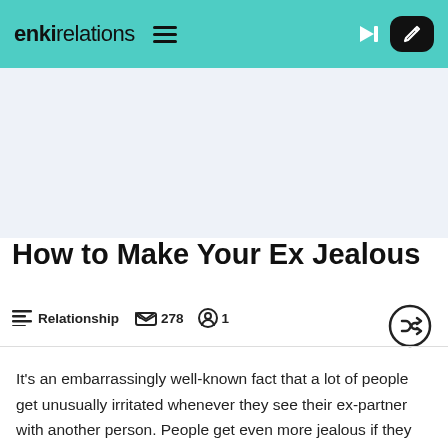enki relations
How to Make Your Ex Jealous
Relationship  278  1
It's an embarrassingly well-known fact that a lot of people get unusually irritated whenever they see their ex-partner with another person. People get even more jealous if they can sense that there's an emotional connection between their ex and his or her new lover. Anyway, if you want to make your ex-partner jealous and don't know how to go about things, then you have come